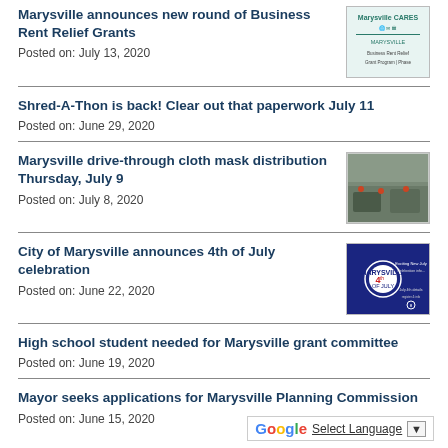Marysville announces new round of Business Rent Relief Grants
Posted on: July 13, 2020
[Figure (illustration): Marysville CARES Business Rent Relief Grant Program flyer with logos]
Shred-A-Thon is back! Clear out that paperwork July 11
Posted on: June 29, 2020
Marysville drive-through cloth mask distribution Thursday, July 9
Posted on: July 8, 2020
[Figure (photo): Drive-through mask distribution event with cars and orange cones]
City of Marysville announces 4th of July celebration
Posted on: June 22, 2020
[Figure (illustration): Marysville 4th of July celebration graphic with fireworks and badge]
High school student needed for Marysville grant committee
Posted on: June 19, 2020
Mayor seeks applications for Marysville Planning Commission
Posted on: June 15, 2020